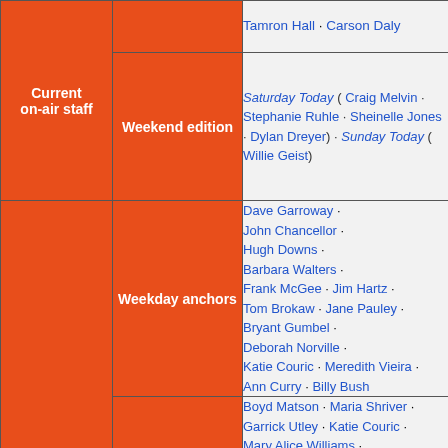| Current on-air staff | Edition | Names |
| --- | --- | --- |
| Current on-air staff |  | Tamron Hall · Carson Daly |
|  | Weekend edition | Saturday Today ( Craig Melvin · Stephanie Ruhle · Sheinelle Jones · Dylan Dreyer) · Sunday Today ( Willie Geist) |
|  | Weekday anchors | Dave Garroway · John Chancellor · Hugh Downs · Barbara Walters · Frank McGee · Jim Hartz · Tom Brokaw · Jane Pauley · Bryant Gumbel · Deborah Norville · Katie Couric · Meredith Vieira · Ann Curry · Billy Bush |
|  | Weekend anchors | Boyd Matson · Maria Shriver · Garrick Utley · Katie Couric · Mary Alice Williams · Bill Macatee · Scott Simon · Jackie Nespral · Mike Schneider · Giselle Fernández · Jack Ford · ... |